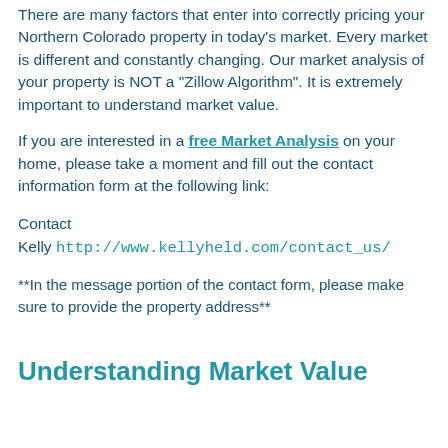There are many factors that enter into correctly pricing your Northern Colorado property in today's market. Every market is different and constantly changing. Our market analysis of your property is NOT a "Zillow Algorithm". It is extremely important to understand market value.
If you are interested in a free Market Analysis on your home, please take a moment and fill out the contact information form at the following link:
Contact
Kelly http://www.kellyheld.com/contact_us/
**In the message portion of the contact form, please make sure to provide the property address**
Understanding Market Value